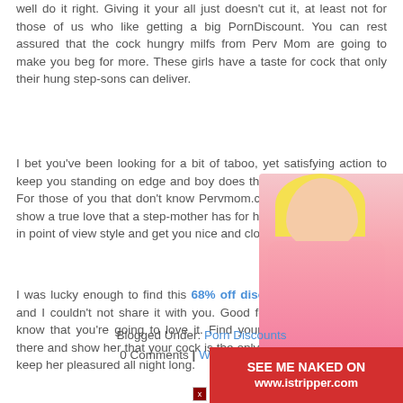well do it right. Giving it your all just doesn't cut it, at least not for those of us who like getting a big PornDiscount. You can rest assured that the cock hungry milfs from Perv Mom are going to make you beg for more. These girls have a taste for cock that only their hung step-sons can deliver.
I bet you've been looking for a bit of taboo, yet satisfying action to keep you standing on edge and boy does this do all that and more. For those of you that don't know Pervmom.com has HD videos that show a true love that a step-mother has for her step-sons. They do it in point of view style and get you nice and close to the action.
I was lucky enough to find this 68% off discount from Perv Mom and I couldn't not share it with you. Good for instant access and I know that you're going to love it. Find your own horny step mom there and show her that your cock is the only thing that she needs to keep her pleasured all night long.
Blogged Under: Porn Discounts
0 Comments | Write Comment
[Figure (photo): Woman in pink lingerie advertisement for istripper.com]
SEE ME NAKED ON www.istripper.com